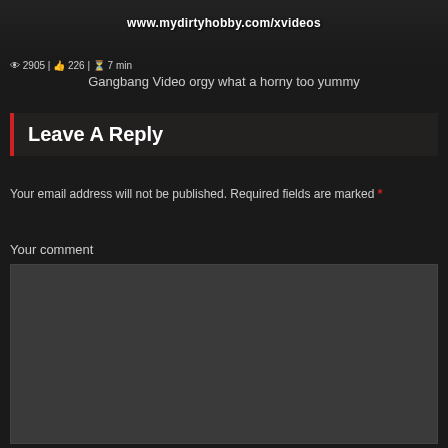[Figure (screenshot): Video thumbnail showing partially visible content with overlay URL text www.mydirtyhobby.com/xvideos]
2905 | 226 | 7 min
Gangbang Video orgy what a horny too yummy
Leave A Reply
Your email address will not be published. Required fields are marked *
Your comment